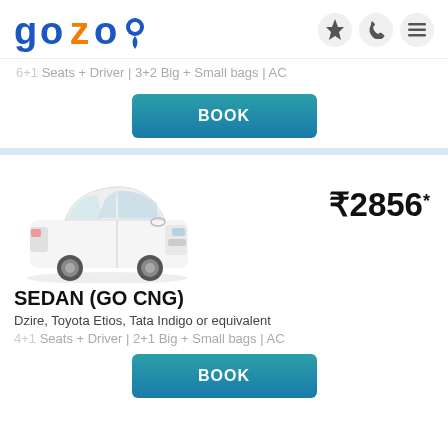[Figure (logo): gozo logo with blue text and orange location pin marker]
6+1 Seats + Driver | 3+2 Big + Small bags | AC
BOOK
[Figure (photo): White Toyota Etios sedan car image]
₹2856*
SEDAN (GO CNG)
Dzire, Toyota Etios, Tata Indigo or equivalent
4+1 Seats + Driver | 2+1 Big + Small bags | AC
BOOK